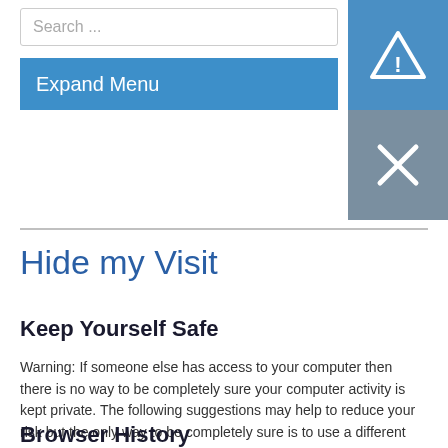Search ...
[Figure (screenshot): Navigation bar with Expand Menu button in blue and UI overlay buttons (warning triangle and close X)]
Hide my Visit
Keep Yourself Safe
Warning: If someone else has access to your computer then there is no way to be completely sure your computer activity is kept private. The following suggestions may help to reduce your risk but the only way to be completely sure is to use a different computer, at work, a friends house, library, etc.
Browser History